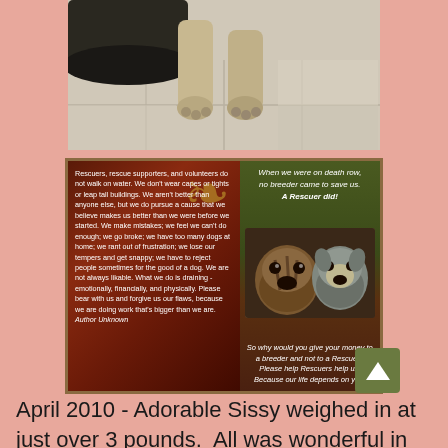[Figure (photo): Close-up photo of a dog's paws resting on a tile floor, with a dark shoe/boot visible at the top left]
[Figure (infographic): Composite rescue advocacy image. Left panel on dark red background with decorative scroll reads: 'Rescuers, rescue supporters, and volunteers do not walk on water. We don't wear capes or tights or leap tall buildings. We aren't better than anyone else, but we do pursue a cause that we believe makes us better than we were before we started. We make mistakes; we feel we can't do enough; we go broke; we have too many dogs at home; we rant out of frustration; we lose our tempers and get snappy; we have to reject people sometimes for the good of a dog. We are not always likable. What we do is draining - emotionally, financially, and physically. Please bear with us and forgive us our flaws, because we are doing work that's bigger than we are. Author Unknown'. Right panel: top text reads 'When we were on death row, no breeder came to save us. A Rescuer did!' with photo of two dogs, bottom text reads 'So why would you give your money to a breeder and not to a Rescuer? Please help Rescuers help us. Because our life depends on you!']
April 2010 - Adorable Sissy weighed in at just over 3 pounds.  All was wonderful in Sissy's life until her family went of vacation for a week, and she was left in the care of someone else.